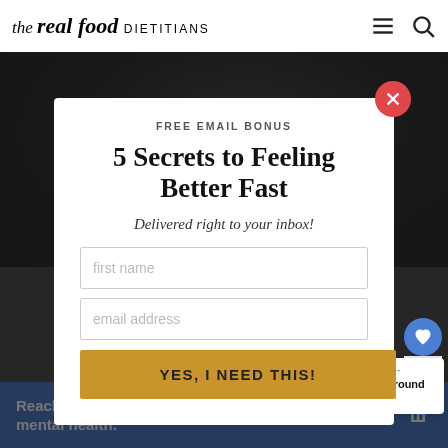the real food DIETITIANS
[Figure (photo): Dark background food photo partially visible behind modal overlay]
FREE EMAIL BONUS
5 Secrets to Feeling Better Fast
Delivered right to your inbox!
first name
email address
YES, I NEED THIS!
WHAT'S NEXT → 20 Healthy Ground Beef....
Reach out to a friend about their mental health.